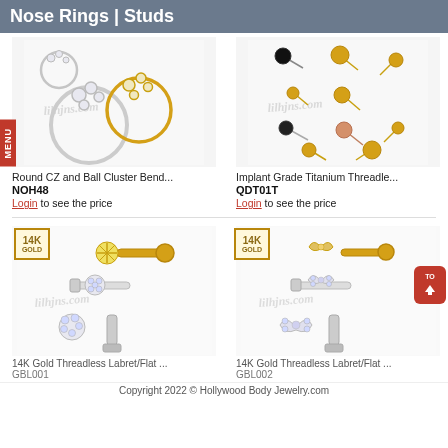Nose Rings | Studs
[Figure (photo): Round CZ and Ball Cluster Bend nose ring jewelry, silver and gold versions shown]
[Figure (photo): Implant Grade Titanium Threadless ball stud earrings/nose studs in multiple colors and sizes]
Round CZ and Ball Cluster Bend...
NOH48
Login to see the price
Implant Grade Titanium Threadle...
QDT01T
Login to see the price
[Figure (photo): 14K Gold Threadless Labret/Flat labret with CZ snowflake/flower design, shown in gold and silver]
[Figure (photo): 14K Gold Threadless Labret/Flat labret with CZ bow design, shown in gold and silver]
Copyright 2022 © Hollywood Body Jewelry.com
14K Gold Threadless Labret/Flat ...
GBL001
14K Gold Threadless Labret/Flat ...
GBL002